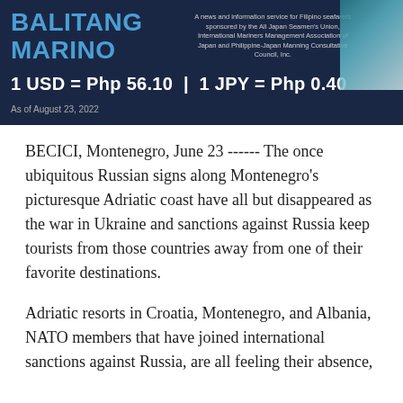BALITANG MARINO — A news and information service for Filipino seafarers sponsored by the All Japan Seamen's Union, International Mariners Management Association of Japan and Philippine-Japan Manning Consultative Council, Inc.
1 USD = Php 56.10 | 1 JPY = Php 0.40
As of August 23, 2022
BECICI, Montenegro, June 23 ------ The once ubiquitous Russian signs along Montenegro's picturesque Adriatic coast have all but disappeared as the war in Ukraine and sanctions against Russia keep tourists from those countries away from one of their favorite destinations.
Adriatic resorts in Croatia, Montenegro, and Albania, NATO members that have joined international sanctions against Russia, are all feeling their absence,